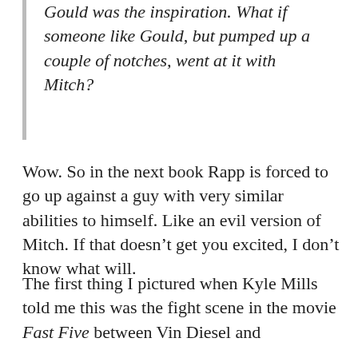Gould was the inspiration. What if someone like Gould, but pumped up a couple of notches, went at it with Mitch?
Wow. So in the next book Rapp is forced to go up against a guy with very similar abilities to himself. Like an evil version of Mitch. If that doesn't get you excited, I don't know what will.
The first thing I pictured when Kyle Mills told me this was the fight scene in the movie Fast Five between Vin Diesel and